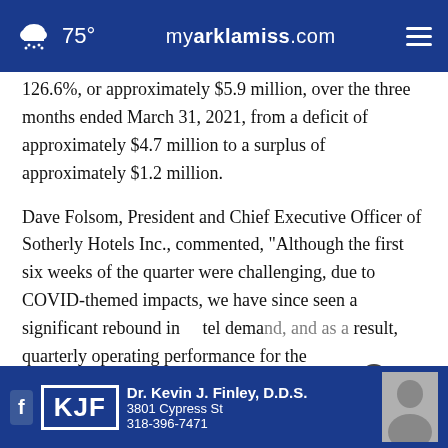75° myarklamiss.com
126.6%, or approximately $5.9 million, over the three months ended March 31, 2021, from a deficit of approximately $4.7 million to a surplus of approximately $1.2 million.
Dave Folsom, President and Chief Executive Officer of Sotherly Hotels Inc., commented, "Although the first six weeks of the quarter were challenging, due to COVID-themed impacts, we have since seen a significant rebound in hotel demand, and as a result, quarterly operating performance for the
[Figure (other): Advertisement overlay for Dr. Kevin J. Finley, D.D.S. at 3801 Cypress St, 318-396-7471, with Facebook icon, KJF logo box, and a photo of a man.]